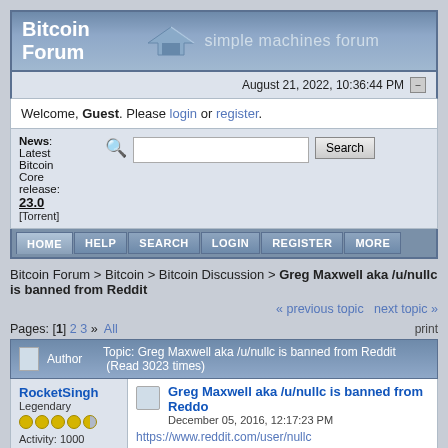Bitcoin Forum simple machines forum
August 21, 2022, 10:36:44 PM
Welcome, Guest. Please login or register.
News: Latest Bitcoin Core release: 23.0 [Torrent]
HOME  HELP  SEARCH  LOGIN  REGISTER  MORE
Bitcoin Forum > Bitcoin > Bitcoin Discussion > Greg Maxwell aka /u/nullc is banned from Reddit
« previous topic  next topic »
Pages: [1] 2 3 »  All    print
| Author | Topic |
| --- | --- |
| RocketSingh
Legendary | Greg Maxwell aka /u/nullc is banned from Reddit
December 05, 2016, 12:17:23 PM
https://www.reddit.com/user/nullc |
Activity: 1000